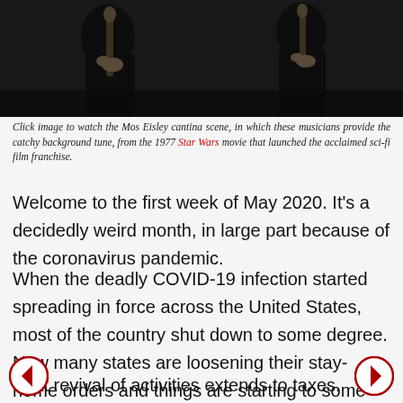[Figure (photo): Dark photograph of musicians holding instruments, partial view of hands and instruments against dark background]
Click image to watch the Mos Eisley cantina scene, in which these musicians provide the catchy background tune, from the 1977 Star Wars movie that launched the acclaimed sci-fi film franchise.
Welcome to the first week of May 2020. It's a decidedly weird month, in large part because of the coronavirus pandemic.
When the deadly COVID-19 infection started spreading in force across the United States, most of the country shut down to some degree. Now many states are loosening their stay-home orders and things are starting to some degree to get back to normal, or what will pass as that status for a while.
That revival of activities extends to taxes.